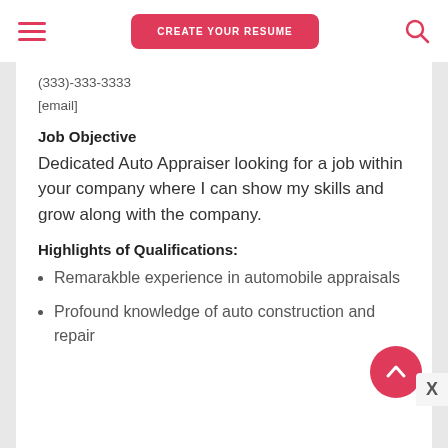CREATE YOUR RESUME
(333)-333-3333
[email]
Job Objective
Dedicated Auto Appraiser looking for a job within your company where I can show my skills and grow along with the company.
Highlights of Qualifications:
Remarakble experience in automobile appraisals
Profound knowledge of auto construction and repair